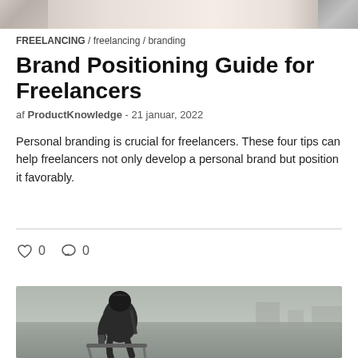[Figure (photo): Top banner image showing partial content, light warm tones]
FREELANCING / freelancing / branding
Brand Positioning Guide for Freelancers
af ProductKnowledge - 21 januar, 2022
Personal branding is crucial for freelancers. These four tips can help freelancers not only develop a personal brand but position it favorably.
[Figure (other): Social interaction bar with heart icon showing 0 likes and comment bubble showing 0 comments]
[Figure (photo): Black and white photo of a person in a dark jacket with fur-trimmed hood sitting on a bench outdoors, looking at a phone, city pavement background]